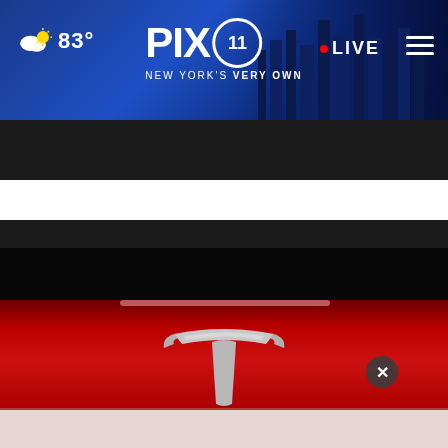PIX11 New York's Very Own — 83° — LIVE
[Figure (screenshot): AARP advertisement banner: 'It's not too late to take charge of your retirement. Get your top 3 tips →' with Ad Council and AARP logos on teal background with cartoon face]
[Figure (photo): Close-up photo of a red Tesla vehicle showing the silver Tesla 'T' logo emblem on the car body]
[Figure (screenshot): ForRent.com advertisement banner showing rental property photo with 'Jamaica, NY' location label]